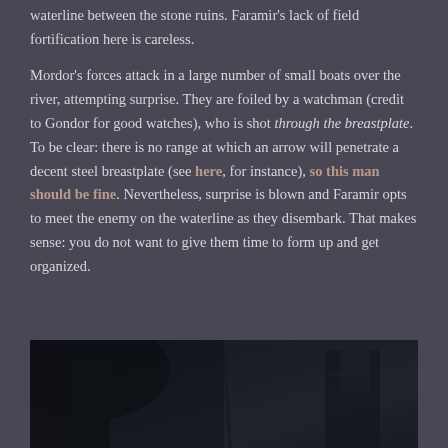waterline between the stone ruins. Faramir's lack of field fortification here is careless.
Mordor's forces attack in a large number of small boats over the river, attempting surprise. They are foiled by a watchman (credit to Gondor for good watches), who is shot through the breastplate. To be clear: there is no range at which an arrow will penetrate a decent steel breastplate (see here, for instance), so this man should be fine. Nevertheless, surprise is blown and Faramir opts to meet the enemy on the waterline as they disembark. That makes sense: you do not want to give them time to form up and get organized.
[Figure (photo): Dark scene from what appears to be a fantasy film, showing armored figures in low light conditions]